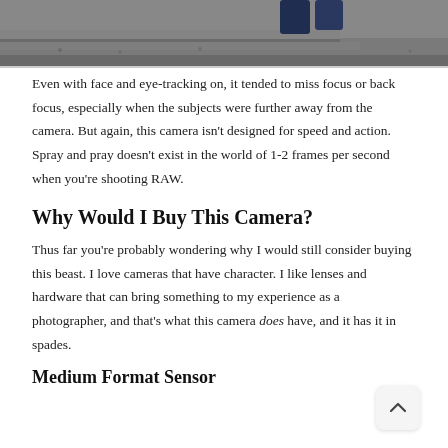[Figure (photo): Partial photo showing feet/shoes standing on stone steps, gray ground, cropped at the top of the page]
Even with face and eye-tracking on, it tended to miss focus or back focus, especially when the subjects were further away from the camera. But again, this camera isn't designed for speed and action. Spray and pray doesn't exist in the world of 1-2 frames per second when you're shooting RAW.
Why Would I Buy This Camera?
Thus far you're probably wondering why I would still consider buying this beast. I love cameras that have character. I like lenses and hardware that can bring something to my experience as a photographer, and that's what this camera does have, and it has it in spades.
Medium Format Sensor